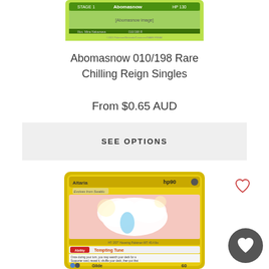[Figure (photo): Abomasnow Pokemon card (cropped top portion), showing green/yellow border card with Abomasnow image and card details including 010/198 number]
Abomasnow 010/198 Rare Chilling Reign Singles
From $0.65 AUD
SEE OPTIONS
[Figure (photo): Altaria Pokemon card from Chilling Reign set showing Altaria with 90 HP, Ability: Tempting Tune, and Glide attack for 60 damage, yellow/gold border]
[Figure (illustration): Heart (favorite/wishlist) icon outline, top right near Altaria card]
[Figure (illustration): Heart (favorite/wishlist) icon in dark circular button, bottom right corner]